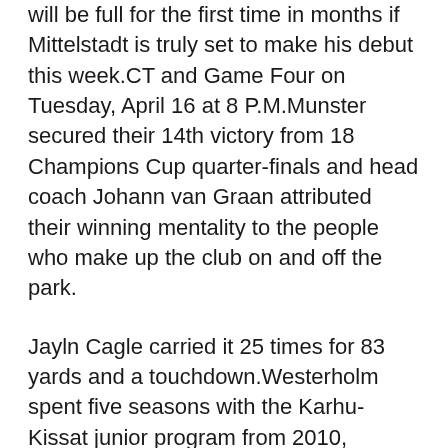will be full for the first time in months if Mittelstadt is truly set to make his debut this week.CT and Game Four on Tuesday, April 16 at 8 P.M.Munster secured their 14th victory from 18 Champions Cup quarter-finals and head coach Johann van Graan attributed their winning mentality to the people who make up the club on and off the park.
Jayln Cagle carried it 25 times for 83 yards and a touchdown.Westerholm spent five seasons with the Karhu-Kissat junior program from 2010, working his way from junior C to junior A prior to his time in Minnesota.Defenseman Cam Fowler pulled no punches in assessing his team’s performance.Originally a fourth-round pick by the Predators in the 2013 NHL Draft, Saros owns a record, 2 goals-against average, .923 save percentage and four shutouts in 48 NHL games.The 2019 NFL Draft: Round 1: Thursday, April 25:00 PM